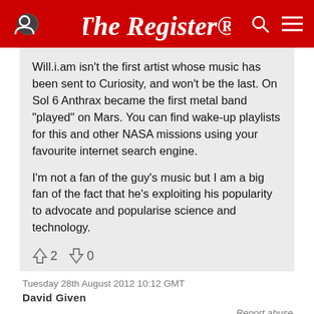The Register
Will.i.am isn't the first artist whose music has been sent to Curiosity, and won't be the last. On Sol 6 Anthrax became the first metal band "played" on Mars. You can find wake-up playlists for this and other NASA missions using your favourite internet search engine.

I'm not a fan of the guy's music but I am a big fan of the fact that he's exploiting his popularity to advocate and popularise science and technology.
↑2  ↓0
Tuesday 28th August 2012 10:12 GMT
David Given
Report abuse
Re: Does Curiosity have speakers?
I know the robotic missions use the wake-